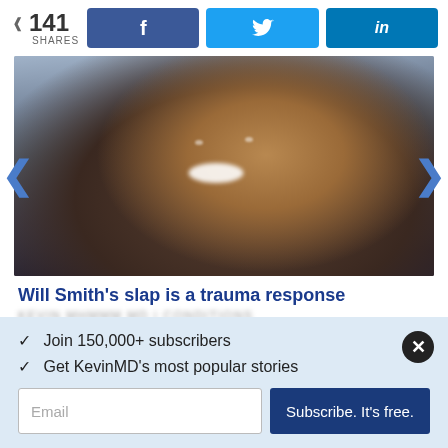141 SHARES | Facebook | Twitter | LinkedIn
[Figure (photo): A man in a dark suit laughing and smiling at a public event, surrounded by a crowd in the background.]
Will Smith’s slap is a trauma response
[subtitle/byline blurred]
✓ Join 150,000+ subscribers
✓ Get KevinMD’s most popular stories
Email | Subscribe. It’s free.